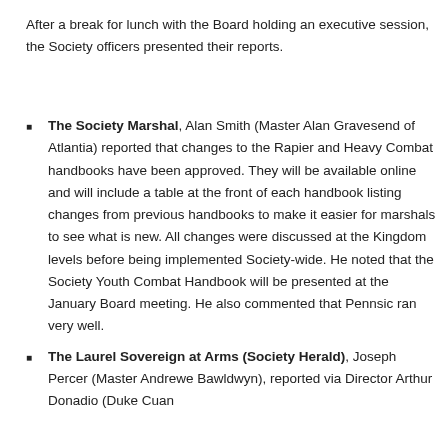After a break for lunch with the Board holding an executive session, the Society officers presented their reports.
The Society Marshal, Alan Smith (Master Alan Gravesend of Atlantia) reported that changes to the Rapier and Heavy Combat handbooks have been approved. They will be available online and will include a table at the front of each handbook listing changes from previous handbooks to make it easier for marshals to see what is new. All changes were discussed at the Kingdom levels before being implemented Society-wide. He noted that the Society Youth Combat Handbook will be presented at the January Board meeting. He also commented that Pennsic ran very well.
The Laurel Sovereign at Arms (Society Herald), Joseph Percer (Master Andrewe Bawldwyn), reported via Director Arthur Donadio (Duke Cuan...